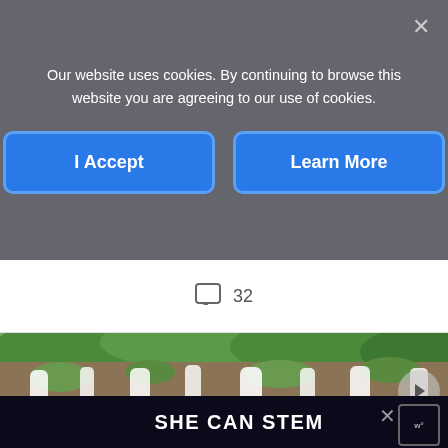Our website uses cookies. By continuing to browse this website you are agreeing to our use of cookies.
I Accept
Learn More
32
[Figure (photo): Scenic waterfall landscape with turquoise water and lush green vegetation]
SHE CAN STEM